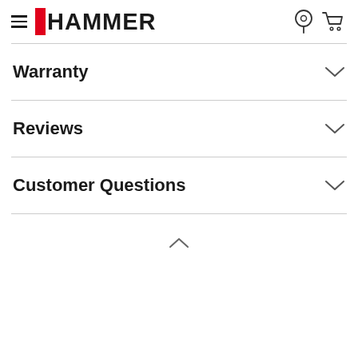HAMMER — navigation header with hamburger menu, logo, location icon, and cart icon
Warranty
Reviews
Customer Questions